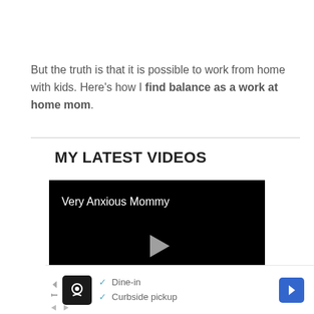But the truth is that it is possible to work from home with kids. Here's how I find balance as a work at home mom.
MY LATEST VIDEOS
[Figure (screenshot): Video player with black background showing title 'Very Anxious Mommy' and a play button (triangle) in the center]
[Figure (screenshot): Advertisement banner showing a restaurant icon, checkmarks for 'Dine-in' and 'Curbside pickup', and a blue navigation arrow on the right]